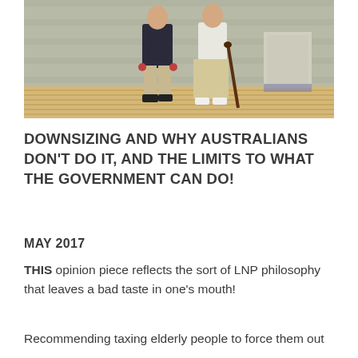[Figure (photo): Two elderly people standing on a wooden deck outside a house. One appears to be holding a walking cane. The house has horizontal siding visible in the background.]
DOWNSIZING AND WHY AUSTRALIANS DON'T DO IT, AND THE LIMITS TO WHAT THE GOVERNMENT CAN DO!
MAY 2017
THIS opinion piece reflects the sort of LNP philosophy that leaves a bad taste in one's mouth!
Recommending taxing elderly people to force them out